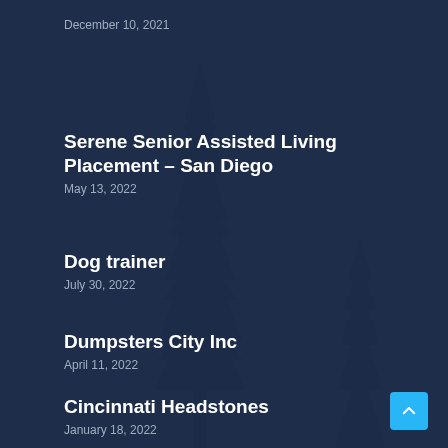December 10, 2021
Serene Senior Assisted Living Placement – San Diego
May 13, 2022
Dog trainer
July 30, 2022
Dumpsters City Inc
April 11, 2022
Cincinnati Headstones
January 18, 2022